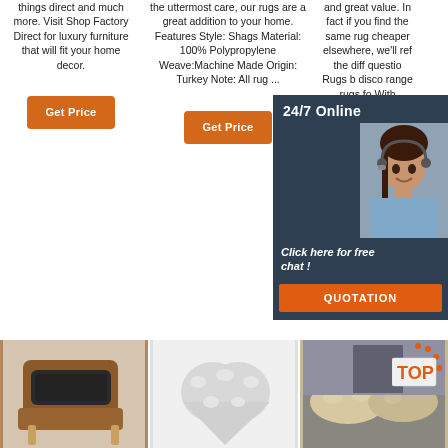things direct and much more. Visit Shop Factory Direct for luxury furniture that will fit your home decor.
[Figure (other): Orange 'Get Price' button]
the uttermost care, our rugs are a great addition to your home. Features Style: Shags Material: 100% Polypropylene Weave:Machine Made Origin: Turkey Note: All rug ...
[Figure (other): Orange 'Get Price' button]
and great value. In fact if you find the same rug cheaper elsewhere, we'll ref the diff questio Rugs b disco range rugs fo With
[Figure (other): Chat overlay with agent photo, '24/7 Online' header, 'Click here for free chat!' text, and QUOTATION button]
[Figure (other): Orange 'Get Price' button (partially visible)]
[Figure (photo): Product image: leather chair with dark fur cushion]
[Figure (photo): Product image: fluffy white/grey heart-shaped pom rug]
[Figure (photo): Product image: beige/cream fur cushions on furniture with TOP badge overlay]